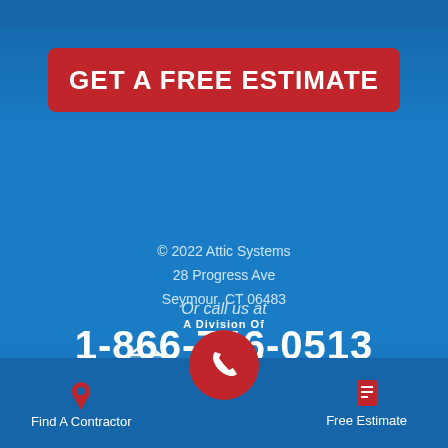GET A FREE ESTIMATE
Or call us at
1-866-746-0513
© 2022 Attic Systems
28 Progress Ave
Seymour, CT 06483
A Division Of
[Figure (logo): Dr. Energy Saver logo with house icon]
Find A Contractor
Free Estimate